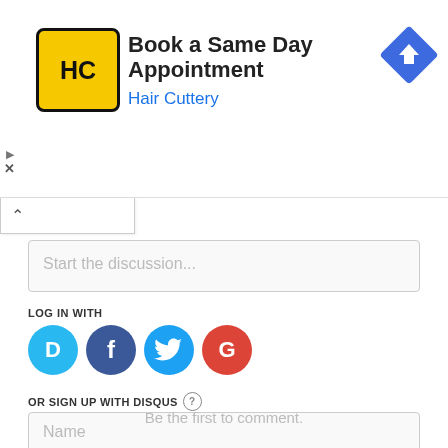[Figure (screenshot): Hair Cuttery advertisement banner: yellow logo with HC text, title 'Book a Same Day Appointment', subtitle 'Hair Cuttery' in blue, blue diamond navigation icon on right, ad controls (play/close) on left edge]
Start the discussion...
LOG IN WITH
[Figure (infographic): Social login icons: Disqus (D, blue circle), Facebook (f, dark blue circle), Twitter (bird, light blue circle), Google (G, red circle)]
OR SIGN UP WITH DISQUS ?
Name
Be the first to comment.